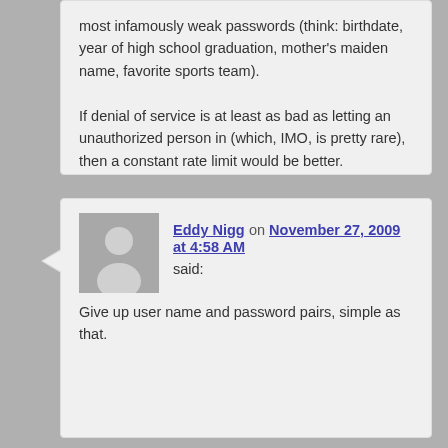most infamously weak passwords (think: birthdate, year of high school graduation, mother's maiden name, favorite sports team).

If denial of service is at least as bad as letting an unauthorized person in (which, IMO, is pretty rare), then a constant rate limit would be better.
[Figure (illustration): Generic user avatar placeholder - grey silhouette of a person on grey background]
Eddy Nigg on November 27, 2009 at 4:58 AM said: Give up user name and password pairs, simple as that.